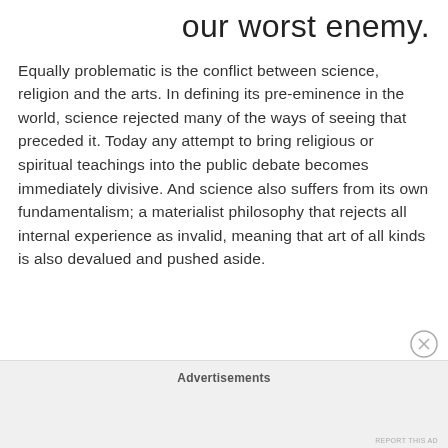our worst enemy.
Equally problematic is the conflict between science, religion and the arts. In defining its pre-eminence in the world, science rejected many of the ways of seeing that preceded it. Today any attempt to bring religious or spiritual teachings into the public debate becomes immediately divisive. And science also suffers from its own fundamentalism; a materialist philosophy that rejects all internal experience as invalid, meaning that art of all kinds is also devalued and pushed aside.
Advertisements